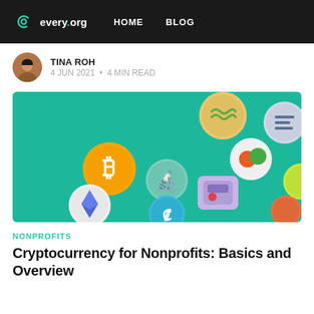every.org  HOME  BLOG
TINA ROH
4 JUN 2021 · 4 MIN READ
[Figure (photo): Colorful 3D coin-style cryptocurrency and app icons on a teal background, including Bitcoin and Ethereum symbols]
NONPROFITS
Cryptocurrency for Nonprofits: Basics and Overview